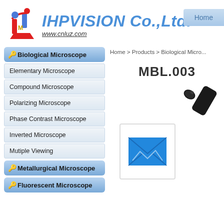[Figure (logo): IHPVISION Co.,Ltd. logo with microscope/lab icon in red and blue]
Home
Home > Products > Biological Micro...
Biological Microscope
Elementary Microscope
Compound Microscope
Polarizing Microscope
Phase Contrast Microscope
Inverted Microscope
Mutiple Viewing
Metallurgical Microscope
Fluorescent Microscope
MBL.003
[Figure (photo): Microscope eyepiece tube and email/contact icon box]